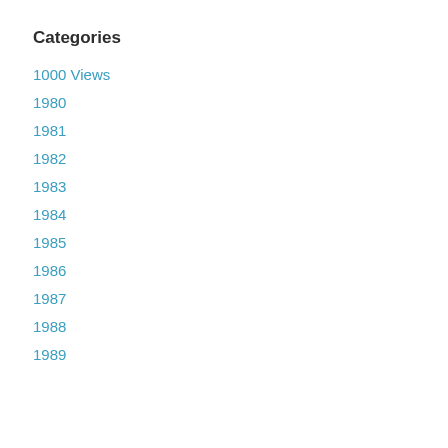Categories
1000 Views
1980
1981
1982
1983
1984
1985
1986
1987
1988
1989